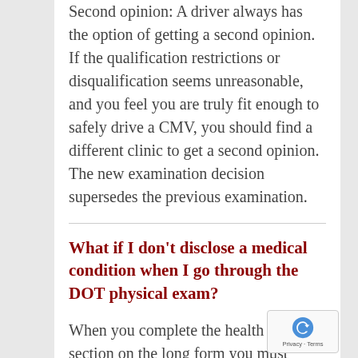Second opinion: A driver always has the option of getting a second opinion. If the qualification restrictions or disqualification seems unreasonable, and you feel you are truly fit enough to safely drive a CMV, you should find a different clinic to get a second opinion. The new examination decision supersedes the previous examination.
What if I don't disclose a medical condition when I go through the DOT physical exam?
When you complete the health history section on the long form you must certify that your responses are complete and true. Making a false statement for concealing a disqualifying condition may invalidate the examination and